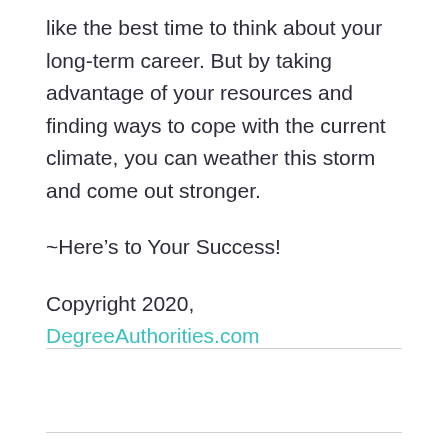like the best time to think about your long-term career. But by taking advantage of your resources and finding ways to cope with the current climate, you can weather this storm and come out stronger.
~Here's to Your Success!
Copyright 2020, DegreeAuthorities.com